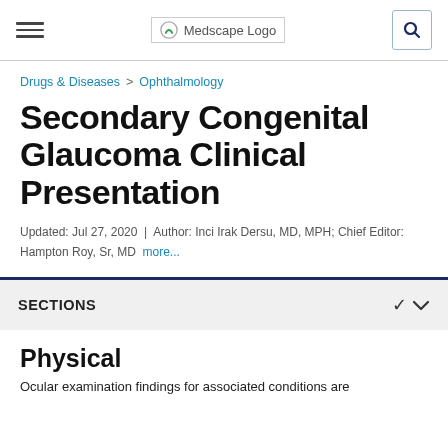Medscape Logo
Drugs & Diseases > Ophthalmology
Secondary Congenital Glaucoma Clinical Presentation
Updated: Jul 27, 2020 | Author: Inci Irak Dersu, MD, MPH; Chief Editor: Hampton Roy, Sr, MD more...
SECTIONS
Physical
Ocular examination findings for associated conditions are